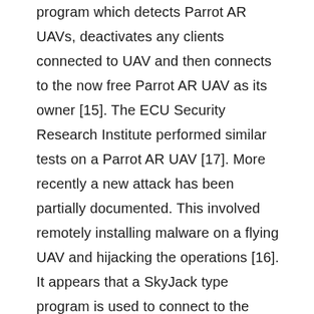program which detects Parrot AR UAVs, deactivates any clients connected to UAV and then connects to the now free Parrot AR UAV as its owner [15]. The ECU Security Research Institute performed similar tests on a Parrot AR UAV [17]. More recently a new attack has been partially documented. This involved remotely installing malware on a flying UAV and hijacking the operations [16]. It appears that a SkyJack type program is used to connect to the UAV and the controlling flight program is killed and replaced with the malware. Communications between a UAV controller and a satellite have been hijacked using SkyGrabber [18]. In 2009 Iraqi insurgents